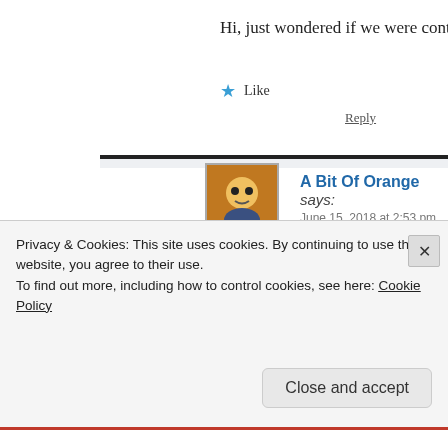Hi, just wondered if we were continuing this conve…
★ Like
Reply
A Bit Of Orange says:
June 15, 2018 at 2:53 pm
Not in quick succession. I thought sumr… time for things like this, but it has not. … time for anything but work.
And Frankly, I may have said all I have t…
Privacy & Cookies: This site uses cookies. By continuing to use this website, you agree to their use.
To find out more, including how to control cookies, see here: Cookie Policy
Close and accept